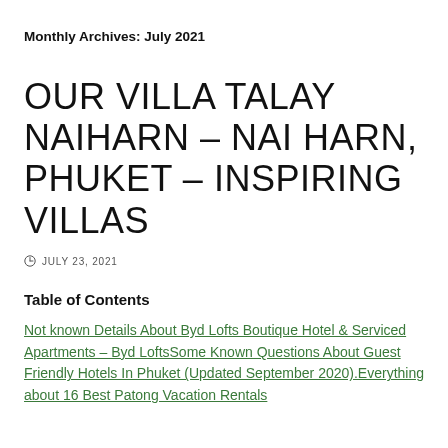Monthly Archives: July 2021
OUR VILLA TALAY NAIHARN – NAI HARN, PHUKET – INSPIRING VILLAS
JULY 23, 2021
Table of Contents
Not known Details About Byd Lofts Boutique Hotel & Serviced Apartments – Byd LoftsSome Known Questions About Guest Friendly Hotels In Phuket (Updated September 2020).Everything about 16 Best Patong Vacation Rentals